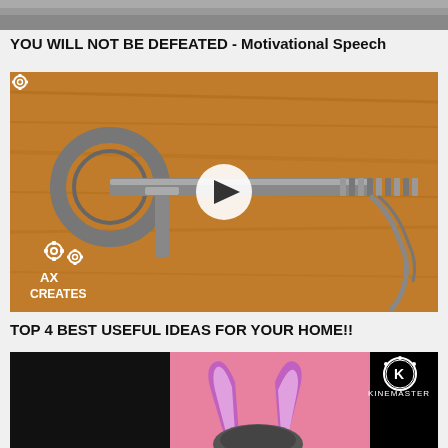[Figure (screenshot): Partial top of a video thumbnail showing dark/grey gradient, cropped at top of page]
YOU WILL NOT BE DEFEATED - Motivational Speech
[Figure (screenshot): Video thumbnail showing a metal eye bolt and spring on a wooden background, with a play button in the center. Bottom left shows gear icons and text 'AX CREATES']
TOP 4 BEST USEFUL IDEAS FOR YOUR HOME!!
[Figure (screenshot): Video thumbnail showing animated rabbit ears (purple) on pink background with KineMaster logo in top right, partially cut off at bottom]